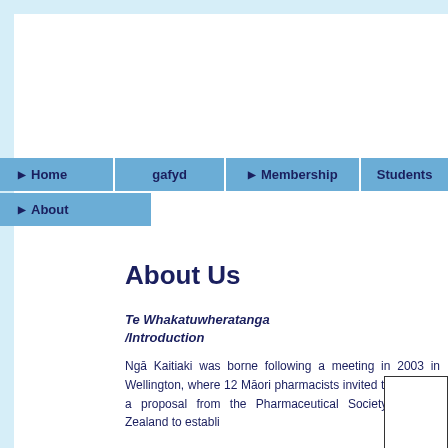Home | gafyd | Membership | Students | About
About Us
Te Whakatuwheratanga /Introduction
Ngā Kaitiaki was borne following a meeting in 2003 in Wellington, where 12 Māori pharmacists invited to consider a proposal from the Pharmaceutical Society of New Zealand to establish...